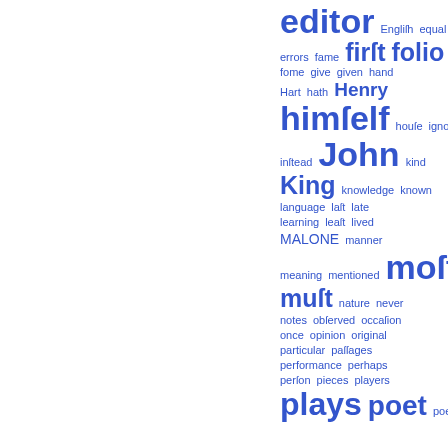[Figure (infographic): Word cloud / tag cloud of literary/bibliographic terms in blue, right-aligned, with varying font sizes indicating frequency. Terms include: editor, English, equal, errors, fame, first, folio, fome, give, given, hand, Hart, hath, Henry, himself, houfe, ignorance, inftead, John, kind, King, knowledge, known, language, laft, late, learning, leaft, lived, MALONE, manner, meaning, mentioned, moft, muft, nature, never, notes, obferved, occafion, once, opinion, original, particular, paffages, performance, perhaps, perfon, pieces, players, plays, poet, poet's]